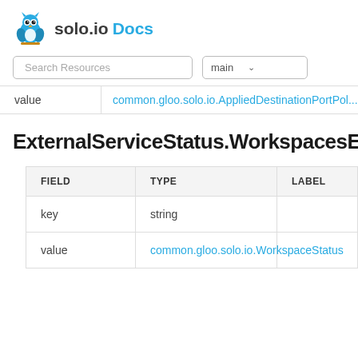solo.io Docs
Search Resources | main
|  | value |
| --- | --- |
| value | common.gloo.solo.io.AppliedDestinationPortPol... |
ExternalServiceStatus.WorkspacesEntry
| FIELD | TYPE | LABEL |
| --- | --- | --- |
| key | string |  |
| value | common.gloo.solo.io.WorkspaceStatus |  |